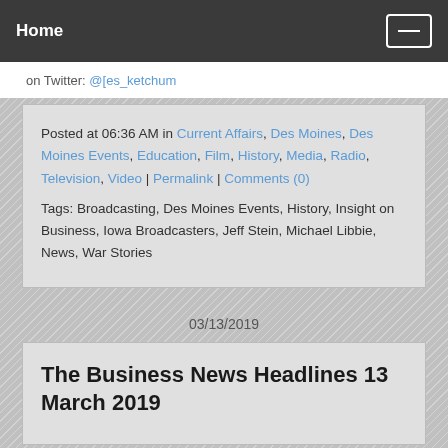Home
on Twitter: @[truncated]
Posted at 06:36 AM in Current Affairs, Des Moines, Des Moines Events, Education, Film, History, Media, Radio, Television, Video | Permalink | Comments (0)
Tags: Broadcasting, Des Moines Events, History, Insight on Business, Iowa Broadcasters, Jeff Stein, Michael Libbie, News, War Stories
03/13/2019
The Business News Headlines 13 March 2019